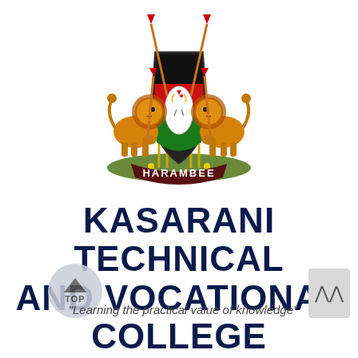[Figure (logo): Kenya coat of arms with two golden lions holding spears flanking a shield with Kenyan flag colors (black, red, green) and a rooster, with HARAMBEE banner below, on a white background.]
KASARANI TECHNICAL AND VOCATIONAL COLLEGE
"Learning the practical value of knowledge"